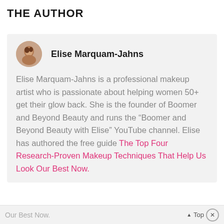THE AUTHOR
[Figure (illustration): Small circular avatar photo of Elise Marquam-Jahns]
Elise Marquam-Jahns
Elise Marquam-Jahns is a professional makeup artist who is passionate about helping women 50+ get their glow back. She is the founder of Boomer and Beyond Beauty and runs the “Boomer and Beyond Beauty with Elise” YouTube channel. Elise has authored the free guide The Top Four Research-Proven Makeup Techniques That Help Us Look Our Best Now.